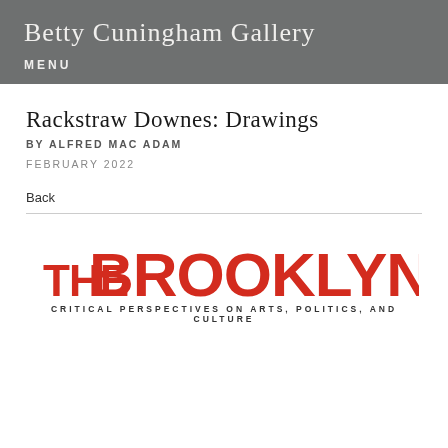Betty Cuningham Gallery
MENU
Rackstraw Downes: Drawings
BY ALFRED MAC ADAM
FEBRUARY 2022
Back
[Figure (logo): The Brooklyn Rail logo in bold red text with tagline: CRITICAL PERSPECTIVES ON ARTS, POLITICS, AND CULTURE]